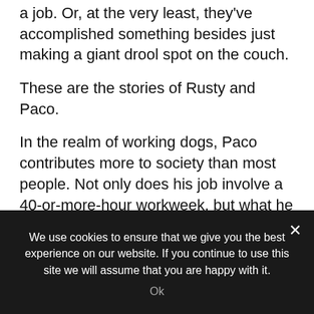a job. Or, at the very least, they've accomplished something besides just making a giant drool spot on the couch.
These are the stories of Rusty and Paco.
In the realm of working dogs, Paco contributes more to society than most people. Not only does his job involve a 40-or-more-hour workweek, but what he does saves lives and fights crime.
Sr. Cpl. Rick Lusk has been a dog handler with the Dallas Police Department's K-9 unit for
We use cookies to ensure that we give you the best experience on our website. If you continue to use this site we will assume that you are happy with it.
Ok